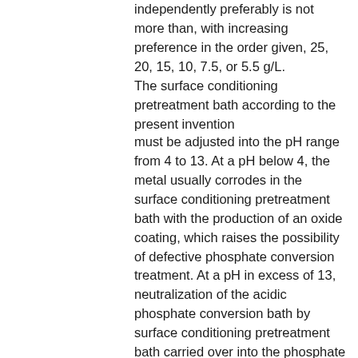independently preferably is not more than, with increasing preference in the order given, 25, 20, 15, 10, 7.5, or 5.5 g/L. The surface conditioning pretreatment bath according to the present invention
must be adjusted into the pH range from 4 to 13. At a pH below 4, the metal usually corrodes in the surface conditioning pretreatment bath with the production of an oxide coating, which raises the possibility of defective phosphate conversion treatment. At a pH in excess of 13, neutralization of the acidic phosphate conversion bath by surface conditioning pretreatment bath carried over into the phosphate conversion treatment step can throw the phosphate conversion bath out of balance. In order to achieve an optimum balance among conversion coating quality, consistency of process control, and economy, the pH value in a conditioning pretreatment according to the invention more preferably is at least, with increasing preference in the order given, 4.5, 5.0, 5.5, 6.0, 6.5, 7.0, or 7.5 and independently preferably is not more than, with increasing preference in the order given, 12.0, 11.0, 10.5, 10.0, 9.5, 9.0, or